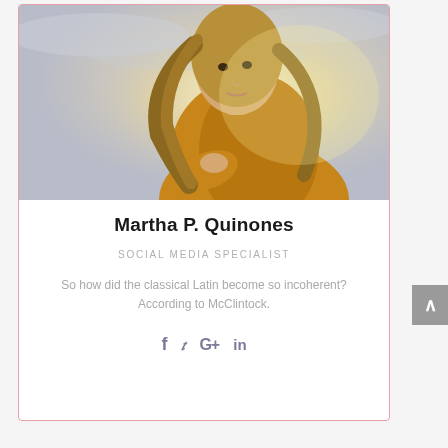[Figure (photo): Portrait photo of a woman with long blonde hair wearing a mustard/amber knitted sweater, looking over her shoulder. Background is a bright hazy sky.]
Martha P. Quinones
SOCIAL MEDIA SPECIALIST
So how did the classical Latin become so incoherent? According to McClintock.
[Figure (infographic): Social media icons: Facebook (f), Twitter (bird), Google+ (G+), LinkedIn (in)]